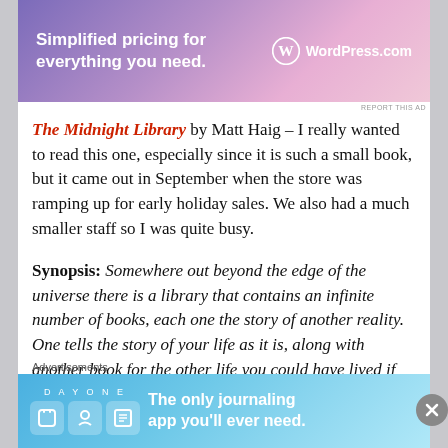[Figure (screenshot): Top advertisement banner for WordPress.com with purple/pink gradient background. Text reads 'Simplified pricing for everything you need.' with WordPress.com logo.]
The Midnight Library by Matt Haig – I really wanted to read this one, especially since it is such a small book, but it came out in September when the store was ramping up for early holiday sales. We also had a much smaller staff so I was quite busy.
Synopsis: Somewhere out beyond the edge of the universe there is a library that contains an infinite number of books, each one the story of another reality. One tells the story of your life as it is, along with another book for the other life you could have lived if you had made a different choice at any point in your life. While we all wonder how our lives might
Advertisements
[Figure (screenshot): Bottom advertisement banner for Day One journaling app with blue gradient background. Shows DAY ONE text, icons, and text 'The only journaling app you'll ever need.']